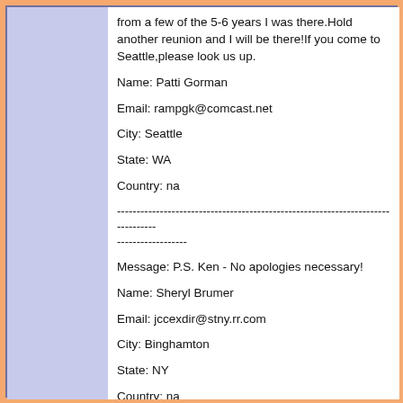from a few of the 5-6 years I was there.Hold another reunion and I will be there!If you come to Seattle,please look us up.
Name: Patti Gorman
Email: rampgk@comcast.net
City: Seattle
State: WA
Country: na
--------------------------------------------------------------------------------
------------------
Message: P.S. Ken - No apologies necessary!
Name: Sheryl Brumer
Email: jccexdir@stny.rr.com
City: Binghamton
State: NY
Country: na